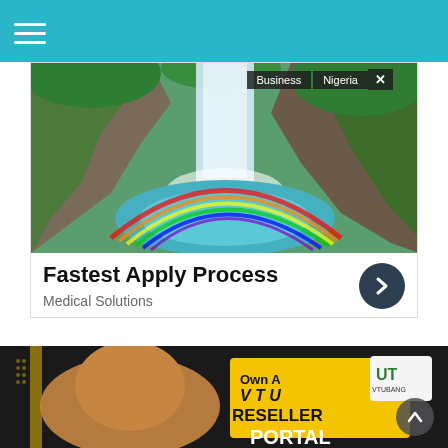[Figure (photo): A scenic waterfall surrounded by lush green tropical forest with a rainbow at the base, overlaid with 'Business' and 'Nigeria' tags and a close button in the top right corner.]
Fastest Apply Process
Medical Solutions
[Figure (photo): Advertisement banner showing a man smiling with text 'Own A VTU RESELLER PORTAL' in bold black and yellow design, with a UT VTUBank logo in the upper right.]